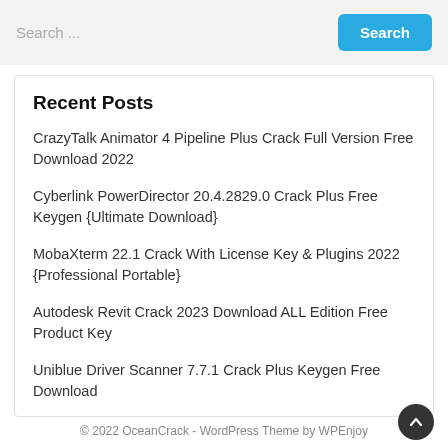Search ...
Recent Posts
CrazyTalk Animator 4 Pipeline Plus Crack Full Version Free Download 2022
Cyberlink PowerDirector 20.4.2829.0 Crack Plus Free Keygen {Ultimate Download}
MobaXterm 22.1 Crack With License Key & Plugins 2022 {Professional Portable}
Autodesk Revit Crack 2023 Download ALL Edition Free Product Key
Uniblue Driver Scanner 7.7.1 Crack Plus Keygen Free Download
© 2022 OceanCrack - WordPress Theme by WPEnjoy